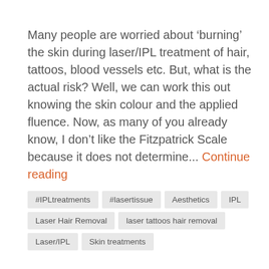Many people are worried about ‘burning’ the skin during laser/IPL treatment of hair, tattoos, blood vessels etc. But, what is the actual risk? Well, we can work this out knowing the skin colour and the applied fluence. Now, as many of you already know, I don’t like the Fitzpatrick Scale because it does not determine... Continue reading
#IPLtreatments
#lasertissue
Aesthetics
IPL
Laser Hair Removal
laser tattoos hair removal
Laser/IPL
Skin treatments